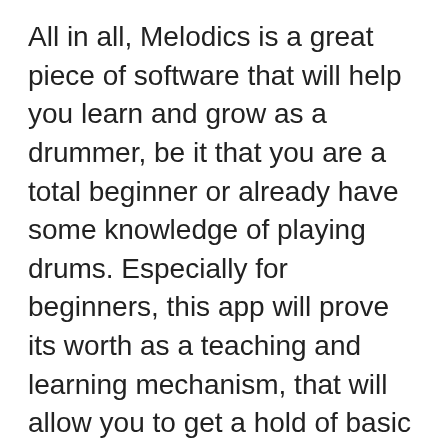All in all, Melodics is a great piece of software that will help you learn and grow as a drummer, be it that you are a total beginner or already have some knowledge of playing drums. Especially for beginners, this app will prove its worth as a teaching and learning mechanism, that will allow you to get a hold of basic drumming skills. With everyday practice, you should in time become a decent drummer, and you can always use this app for practice and learning something new, as its base of songs and artists included is growing every